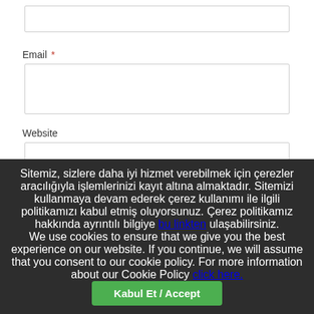Email *
Website
Save my name, email, and website in this browser for the next time I comment.
Sitemiz, sizlere daha iyi hizmet verebilmek için çerezler aracılığıyla işlemlerinizi kayıt altına almaktadır. Sitemizi kullanmaya devam ederek çerez kullanımı ile ilgili politikamızı kabul etmiş oluyorsunuz. Çerez politikamız hakkında ayrıntılı bilgiye bu linkten ulaşabilirsiniz.
We use cookies to ensure that we give you the best experience on our website. If you continue, we will assume that you consent to our cookie policy. For more information about our Cookie Policy click here.
Kabul Et / Accept